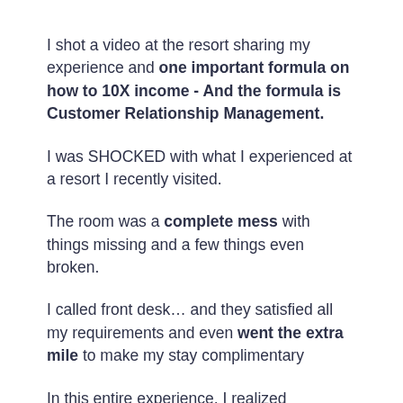I shot a video at the resort sharing my experience and one important formula on how to 10X income - And the formula is Customer Relationship Management.
I was SHOCKED with what I experienced at a resort I recently visited.
The room was a complete mess with things missing and a few things even broken.
I called front desk… and they satisfied all my requirements and even went the extra mile to make my stay complimentary
In this entire experience, I realized something important that can help my community (you :), so I shot this video